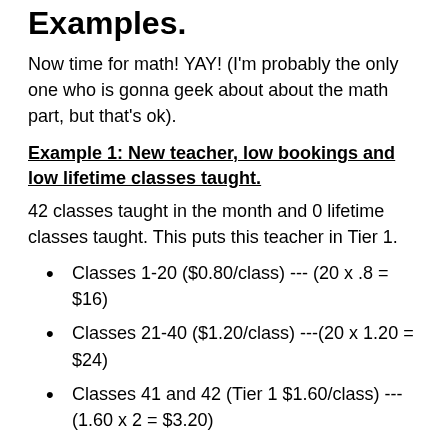Examples.
Now time for math! YAY! (I'm probably the only one who is gonna geek about about the math part, but that's ok).
Example 1: New teacher, low bookings and low lifetime classes taught.
42 classes taught in the month and 0 lifetime classes taught. This puts this teacher in Tier 1.
Classes 1-20 ($0.80/class) --- (20 x .8 = $16)
Classes 21-40 ($1.20/class)  ---(20 x 1.20 = $24)
Classes 41 and 42 (Tier 1 $1.60/class) --- (1.60 x 2 = $3.20)